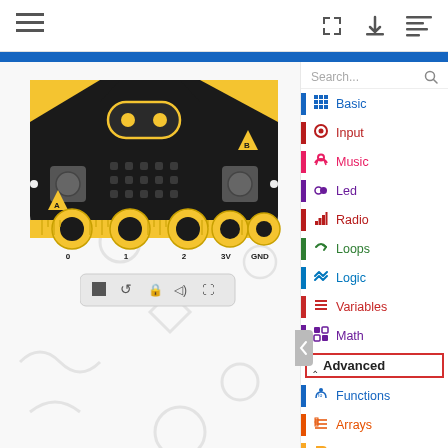[Figure (screenshot): MakeCode editor for BBC micro:bit showing the simulator on the left with a micro:bit board image, and a block category menu on the right with: Basic, Input, Music, Led, Radio, Loops, Logic, Variables, Math, Advanced (highlighted with red border), Functions, Arrays, Text, Game]
MakeCode editor toolbar with hamburger menu, fullscreen, download, and list icons
Search...
Basic
Input
Music
Led
Radio
Loops
Logic
Variables
Math
Advanced
Functions
Arrays
Text
Game